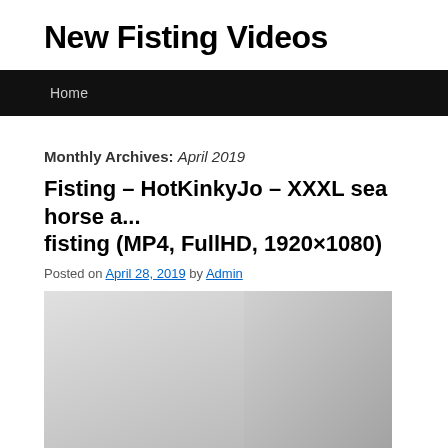New Fisting Videos
Home
Monthly Archives: April 2019
Fisting – HotKinkyJo – XXXL sea horse a... fisting (MP4, FullHD, 1920×1080)
Posted on April 28, 2019 by Admin
[Figure (photo): Thumbnail image for the video post]